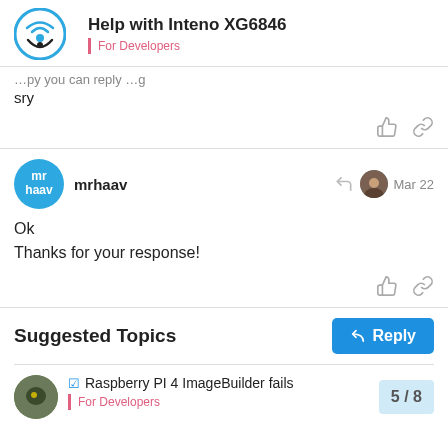Help with Inteno XG6846 — For Developers
sry
mrhaav — Mar 22
Ok
Thanks for your response!
Suggested Topics
Raspberry PI 4 ImageBuilder fails — For Developers
5 / 8